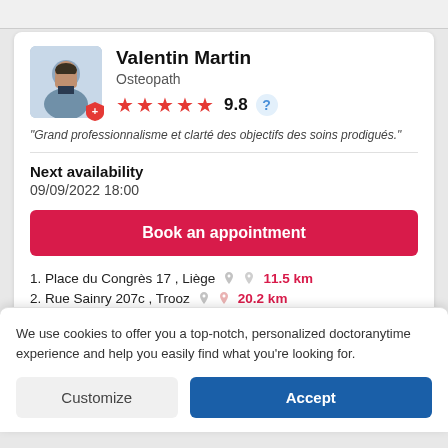Valentin Martin
Osteopath
9.8
"Grand professionnalisme et clarté des objectifs des soins prodigués."
Next availability
09/09/2022 18:00
Book an appointment
1. Place du Congrès 17 , Liège  11.5 km
2. Rue Sainry 207c , Trooz  20.2 km
We use cookies to offer you a top-notch, personalized doctoranytime experience and help you easily find what you're looking for.
Customize
Accept